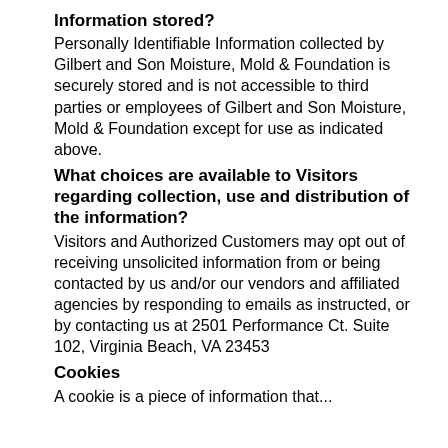Information stored?
Personally Identifiable Information collected by Gilbert and Son Moisture, Mold & Foundation is securely stored and is not accessible to third parties or employees of Gilbert and Son Moisture, Mold & Foundation except for use as indicated above.
What choices are available to Visitors regarding collection, use and distribution of the information?
Visitors and Authorized Customers may opt out of receiving unsolicited information from or being contacted by us and/or our vendors and affiliated agencies by responding to emails as instructed, or by contacting us at 2501 Performance Ct. Suite 102, Virginia Beach, VA 23453
Cookies
A cookie is a piece of information that...